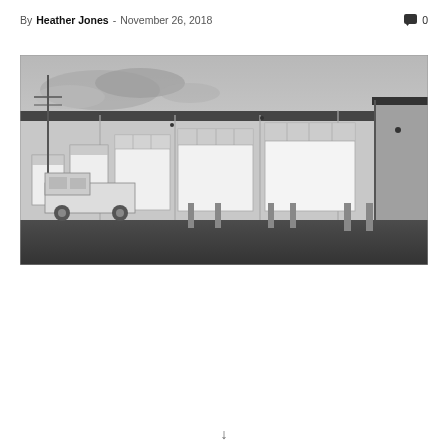By Heather Jones - November 26, 2018
0
[Figure (photo): Black and white photograph of a commercial/industrial warehouse or storage unit building with multiple large white garage doors and windows, a truck parked in front, under a cloudy sky.]
↓